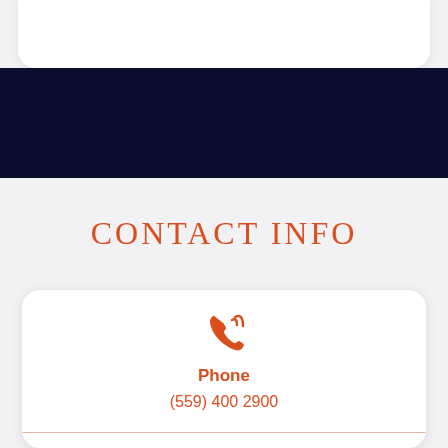CONTACT INFO
Phone
(559) 400 2900